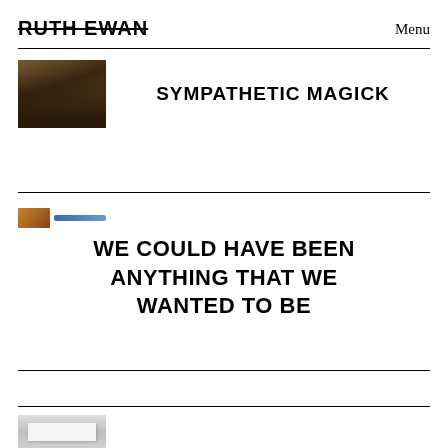RUTH EWAN    Menu
[Figure (photo): Small thumbnail photo showing people in a dimly lit room]
SYMPATHETIC MAGICK
[Figure (photo): Small thumbnail image, partially visible, with blue bar element below]
WE COULD HAVE BEEN ANYTHING THAT WE WANTED TO BE
[Figure (photo): Partial thumbnail image at bottom of page, appears to be an open book]